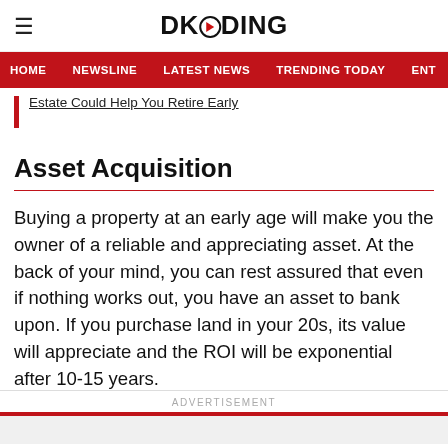DKODING
HOME   NEWSLINE   LATEST NEWS   TRENDING TODAY   ENT
Estate Could Help You Retire Early
Asset Acquisition
Buying a property at an early age will make you the owner of a reliable and appreciating asset. At the back of your mind, you can rest assured that even if nothing works out, you have an asset to bank upon. If you purchase land in your 20s, its value will appreciate and the ROI will be exponential after 10-15 years.
ADVERTISEMENT